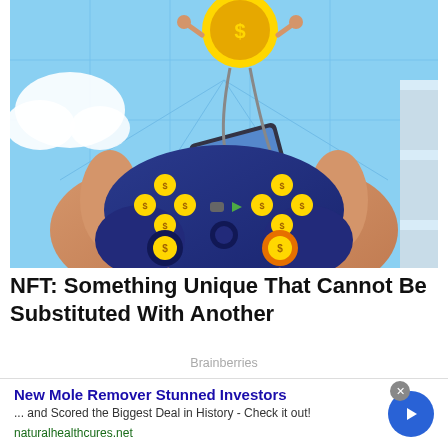[Figure (illustration): Anime/cartoon illustration of two hands holding a dark blue game controller with gold cryptocurrency coin buttons. A glowing gold coin character floats above, connected by cables to a smartphone. The background shows a digital blue tech environment.]
NFT: Something Unique That Cannot Be Substituted With Another
Brainberries
New Mole Remover Stunned Investors
... and Scored the Biggest Deal in History - Check it out!
naturalhealthcures.net